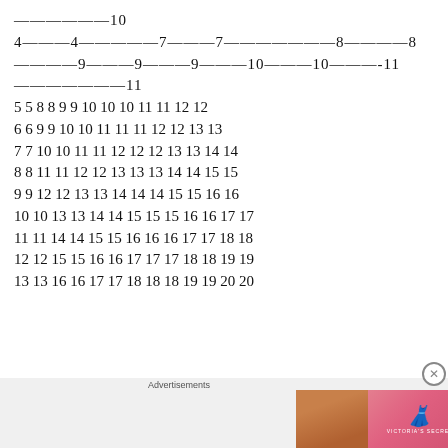——————10
4————4————————7———7——————————8————8
————9———9———9———10——10————-11
————————11
5 5 8 8 9 9 10 10 10 11 11 12 12
6 6 9 9 10 10 11 11 11 12 12 13 13
7 7 10 10 11 11 12 12 12 13 13 14 14
8 8 11 11 12 12 13 13 13 14 14 15 15
9 9 12 12 13 13 14 14 14 15 15 16 16
10 10 13 13 14 14 15 15 15 16 16 17 17
11 11 14 14 15 15 16 16 16 17 17 18 18
12 12 15 15 16 16 17 17 17 18 18 19 19
13 13 16 16 17 17 18 18 18 19 19 20 20
[Figure (advertisement): Victoria's Secret advertisement banner with model photo, VS logo, 'SHOP THE COLLECTION' text, and 'SHOP NOW' button]